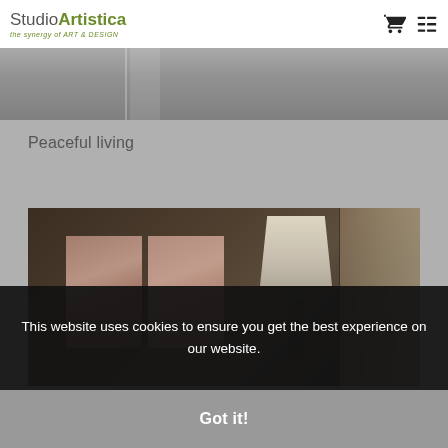StudioArtistica — the synergy of ART & DESIGN
[Figure (photo): Partial view of a desk or workspace, grayscale/muted tones, top portion of a lifestyle interior photo]
Peaceful living
[Figure (photo): Interior design photo showing two floral artwork panels on a wall above a wooden surface, with a lamp and beige panel to the right, dark moody lighting]
This website uses cookies to ensure you get the best experience on our website.
Got it!